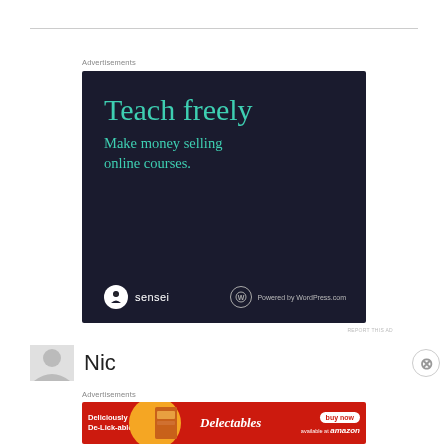Advertisements
[Figure (illustration): Sensei advertisement on dark navy background. Large teal text reads 'Teach freely'. Below that: 'Make money selling online courses.' Bottom shows Sensei logo (circle with tree/person icon) and 'sensei' text, plus WordPress.com powered logo.]
REPORT THIS AD
Nic
Advertisements
[Figure (illustration): Delectables cat food advertisement on red background. Left text: 'Deliciously De-Lick-able'. Center: orange circle with product image and 'Delectables' stylized text. Right: 'buy now' button and 'available at amazon' text.]